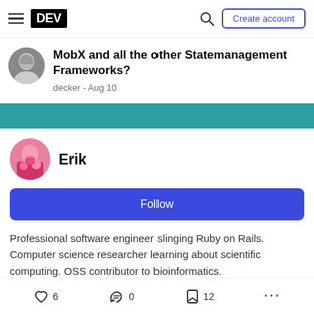DEV — navigation bar with hamburger menu, DEV logo, search icon, Create account button
MobX and all the other Statemanagement Frameworks?
decker - Aug 10
[Figure (screenshot): Teal separator bar]
Erik
Follow
Professional software engineer slinging Ruby on Rails. Computer science researcher learning about scientific computing. OSS contributor to bioinformatics.
LOCATION
6 likes, 0 reactions, 12 bookmarks, more options